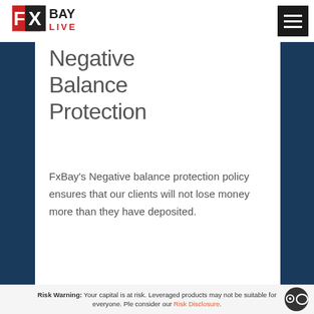[Figure (logo): FxBay Live logo — red and black geometric FX mark with 'FXBAY LIVE' text]
Negative Balance Protection
FxBay's Negative balance protection policy ensures that our clients will not lose money more than they have deposited.
Risk Warning: Your capital is at risk. Leveraged products may not be suitable for everyone. Please consider our Risk Disclosure.